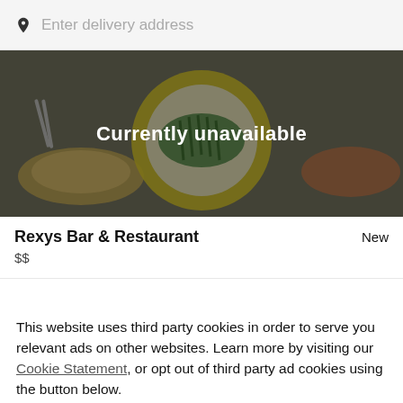Enter delivery address
[Figure (photo): Food photo showing plates with green beans and other dishes, overlaid with a dark semi-transparent layer and text 'Currently unavailable']
Rexys Bar & Restaurant
$$
This website uses third party cookies in order to serve you relevant ads on other websites. Learn more by visiting our Cookie Statement, or opt out of third party ad cookies using the button below.
OPT OUT
GOT IT